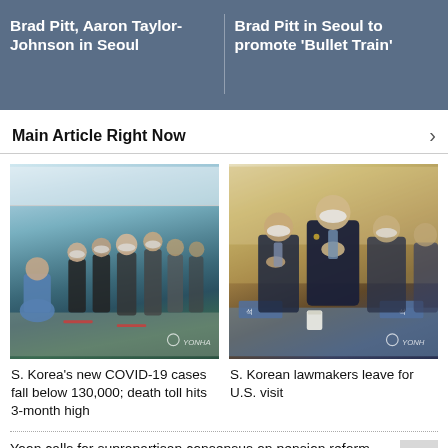Brad Pitt, Aaron Taylor-Johnson in Seoul
Brad Pitt in Seoul to promote 'Bullet Train'
Main Article Right Now
[Figure (photo): People in masks waiting in a queue at what appears to be a COVID-19 testing or vaccination site, with a healthcare worker in blue PPE visible in the foreground. YONHAP watermark.]
[Figure (photo): South Korean lawmakers in suits standing with hands on their chests in a formal setting, wearing masks. YONHAP watermark.]
S. Korea's new COVID-19 cases fall below 130,000; death toll hits 3-month high
S. Korean lawmakers leave for U.S. visit
Yoon calls for suprapartisan consensus on pension reform